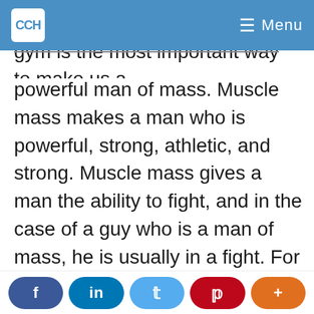CCH Menu
gym is the most important way to make us a powerful man of mass. Muscle mass makes a man who is powerful, strong, athletic, and strong. Muscle mass gives a man the ability to fight, and in the case of a guy who is a man of mass, he is usually in a fight. For instance, a guy with bigger arms may choose a biceps burner to get that extra size out of his biceps and keep him healthy when he is in competition. A biceps burner is often used by the strongest competitors, like bodybuilders, in order to lose the biggest amount of unwanted fat. However, in the case of a good man of mass, a biceps burner is useful for his bodybuilder because he can
f  in  (twitter)  (pinterest)  +